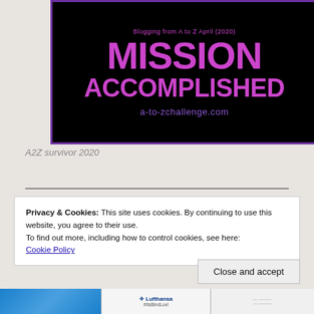[Figure (illustration): Black background banner image with purple border. Top text reads 'Blogging from A to Z April (2020)' in pink. Large bold pink text reads 'MISSION ACCOMPLISHED'. Below that in purple text: 'a-to-zchallenge.com'.]
A2Z survivor 2020
Privacy & Cookies: This site uses cookies. By continuing to use this website, you agree to their use.
To find out more, including how to control cookies, see here:
Cookie Policy
Close and accept
[Figure (screenshot): Bottom strip showing three thumbnail images: a blue image on the left, a Lufthansa #TisBIndLuft card in the middle, and a white document/table on the right.]